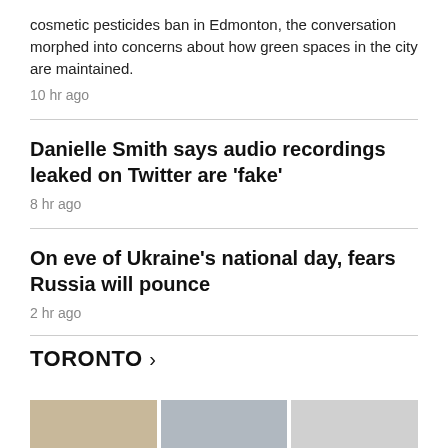cosmetic pesticides ban in Edmonton, the conversation morphed into concerns about how green spaces in the city are maintained.
10 hr ago
Danielle Smith says audio recordings leaked on Twitter are 'fake'
8 hr ago
On eve of Ukraine's national day, fears Russia will pounce
2 hr ago
TORONTO ›
[Figure (photo): Image strip showing three photos at the bottom of the page]